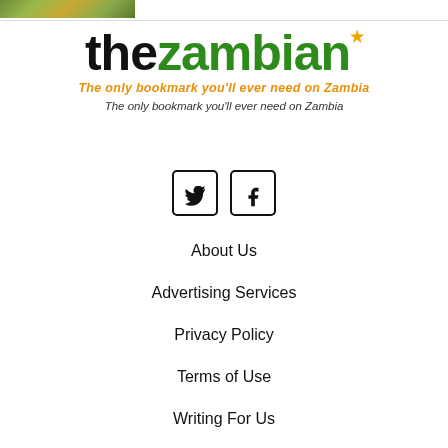[Figure (photo): Partial image at top left showing green/yellow foliage or grass]
[Figure (logo): The Zambian logo - 'thezambian' text with star, tagline in orange italic and black italic]
[Figure (infographic): Twitter and Facebook social media icon buttons]
About Us
Advertising Services
Privacy Policy
Terms of Use
Writing For Us